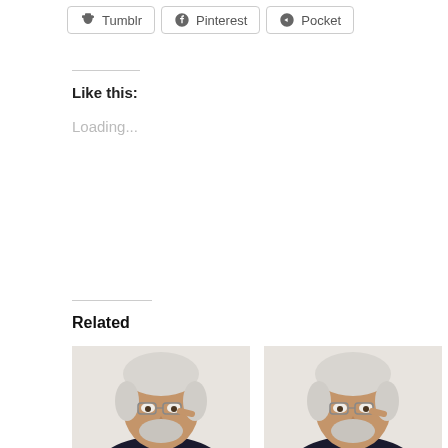[Figure (other): Row of social share buttons: Tumblr, Pinterest, Pocket]
Like this:
Loading...
Related
[Figure (photo): Thumbnail photo of an elderly man with white hair and glasses, touching his temple with one finger, dark shirt, white background]
Understanding Social Systems? / What Is Sociology? / Confusion of Reflective Domains? by
[Figure (photo): Thumbnail photo of the same elderly man with white hair and glasses, touching his temple with one finger, dark shirt, white background]
"Goodness and badness belong to the domain of values, and responsibility belongs to the domain of